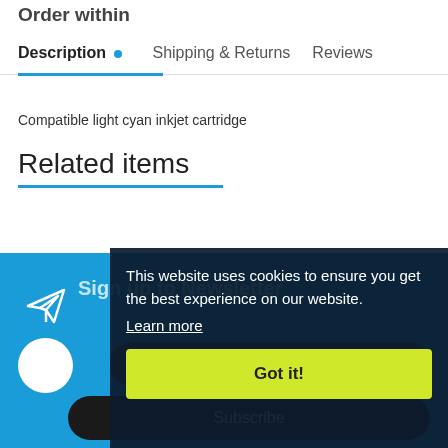Order within
Description | Shipping & Returns | Reviews
Compatible light cyan inkjet cartridge
Related items
Sign up to Newsletter
Enter your email address
Subscribe
This website uses cookies to ensure you get the best experience on our website. Learn more
Got it!